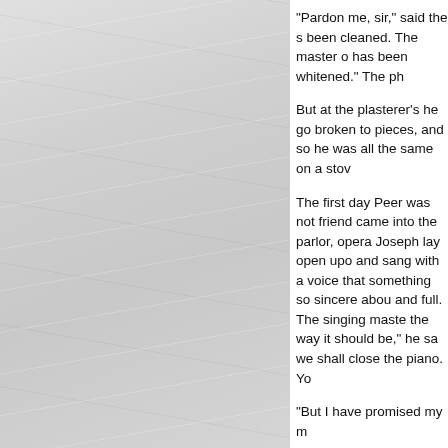[Figure (photo): Left half of the page shows a crumpled or textured light gray paper background image.]
"Pardon me, sir," said the s been cleaned. The master o has been whitened." The ph But at the plasterer's he go broken to pieces, and so he was all the same on a stov The first day Peer was not friend came into the parlor, opera Joseph lay open upo and sang with a voice that something so sincere abou and full. The singing maste the way it should be," he sa we shall close the piano. Yo "But I have promised my m tonight." And he hurried aw home of his childhood; the was like a diamond castle. waiting for him in the garre